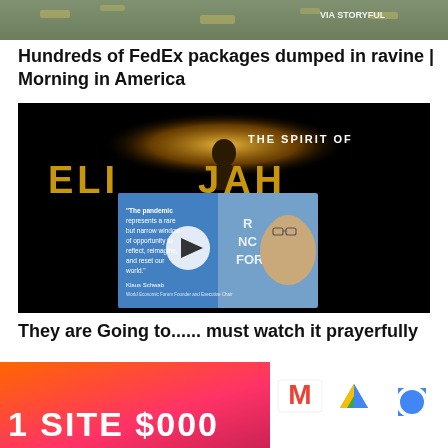[Figure (photo): Top portion of an outdoor scene showing debris/packages in a ravine with 'VIA STORYFUL' watermark in upper right]
Hundreds of FedEx packages dumped in ravine | Morning in America
[Figure (screenshot): Video thumbnail showing 'The Spirit of Elijah' title in gold letters on black background, with an embedded video card showing Klaus Schwab quote: 'The pandemic represents a rare but narrow window of opportunity to reflect, reimagine, and reset our world.' with a play button overlay]
They are Going to...... must watch it prayerfully
[Figure (photo): Bottom-left: orange/red gradient advertisement image with '1 SITE $000' text partially visible]
[Figure (screenshot): Bottom-right: Google app icons including Gmail (M), Google Drive (triangle), and another Google app icon on white background]